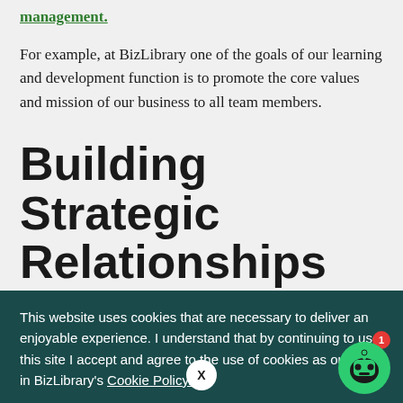management.
For example, at BizLibrary one of the goals of our learning and development function is to promote the core values and mission of our business to all team members.
Building Strategic Relationships as an HRBP
This website uses cookies that are necessary to deliver an enjoyable experience. I understand that by continuing to use this site I accept and agree to the use of cookies as outlined in BizLibrary's Cookie Policy.